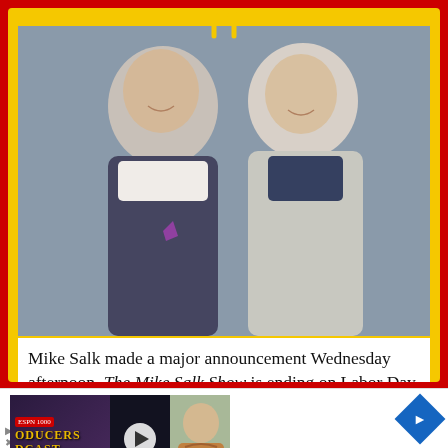[Figure (photo): McDonald's advertisement frame with yellow and red border, containing a photo of two men in suits (talk show hosts) and an article excerpt about Mike Salk making a major announcement that The Mike Salk Show is ending on Labor Day, with Brock Huard co-hosting a new show Brock & Salk on Sports 710. A video thumbnail overlay shows a podcast graphic with a man's photo.]
Mike Salk made a major announcement Wednesday afternoon. The Mike Salk Show is ending on Labor Day. The good news, however, is that he'll be rejoined by his longtime co-host Brock Huard and Brock & Salk is [launching on] September 6th. The duo will host [on] Sports 710, airing daily from
[Figure (screenshot): Video thumbnail overlay showing PRODUCERS PODCAST label with a man in a plaid shirt and a play button]
[Figure (logo): Sweet Frog logo with green and red text, followed by checkmarks for Dine-in, Takeout, and Delivery options, and a blue navigation diamond arrow]
✓ Dine-in   ✓ Takeout
✓ Delivery